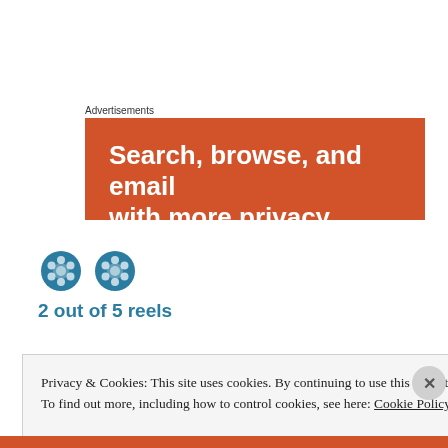Advertisements
[Figure (other): Advertisement banner with orange background and white bold text: 'Search, browse, and email with...' (text partially cut off)]
2 out of 5 reels
Privacy & Cookies: This site uses cookies. By continuing to use this website, you agree to their use. To find out more, including how to control cookies, see here: Cookie Policy
Close and accept